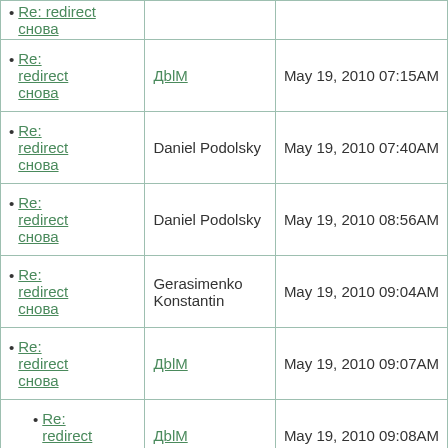| Subject | Author | Date |
| --- | --- | --- |
| Re: redirect снова | ДblМ | May 19, 2010 07:15AM |
| Re: redirect снова | Daniel Podolsky | May 19, 2010 07:40AM |
| Re: redirect снова | Daniel Podolsky | May 19, 2010 08:56AM |
| Re: redirect снова | Gerasimenko Konstantin | May 19, 2010 09:04AM |
| Re: redirect снова | ДblМ | May 19, 2010 09:07AM |
| Re: redirect снова | ДblМ | May 19, 2010 09:08AM |